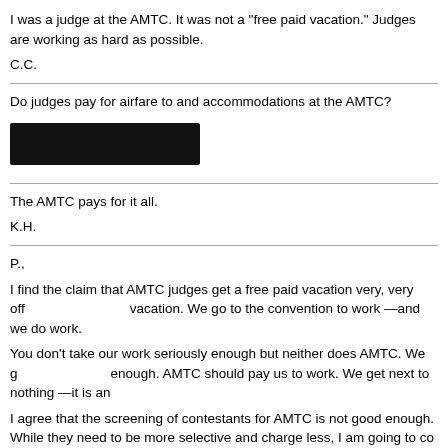I was a judge at the AMTC. It was not a "free paid vacation." Judges are working as hard as possible.
C.C.
Do judges pay for airfare to and accommodations at the AMTC?
[Figure (other): Redacted black marker block covering text]
The AMTC pays for it all.
K.H.
P.,
I find the claim that AMTC judges get a free paid vacation very, very offensive. It is not a vacation. We go to the convention to work —and we do work.
You don't take our work seriously enough but neither does AMTC. We get paid, but not enough. AMTC should pay us to work. We get next to nothing —it is an insult.
I agree that the screening of contestants for AMTC is not good enough. While they need to be more selective and charge less, I am going to co